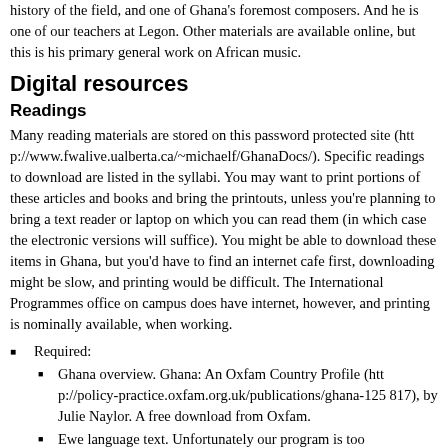history of the field, and one of Ghana's foremost composers. And he is one of our teachers at Legon. Other materials are available online, but this is his primary general work on African music.
Digital resources
Readings
Many reading materials are stored on this password protected site (http://www.fwalive.ualberta.ca/~michaelf/GhanaDocs/). Specific readings to download are listed in the syllabi. You may want to print portions of these articles and books and bring the printouts, unless you're planning to bring a text reader or laptop on which you can read them (in which case the electronic versions will suffice). You might be able to download these items in Ghana, but you'd have to find an internet cafe first, downloading might be slow, and printing would be difficult. The International Programmes office on campus does have internet, however, and printing is nominally available, when working.
Required:
Ghana overview. Ghana: An Oxfam Country Profile (http://policy-practice.oxfam.org.uk/publications/ghana-125817), by Julie Naylor. A free download from Oxfam.
Ewe language text. Unfortunately our program is too